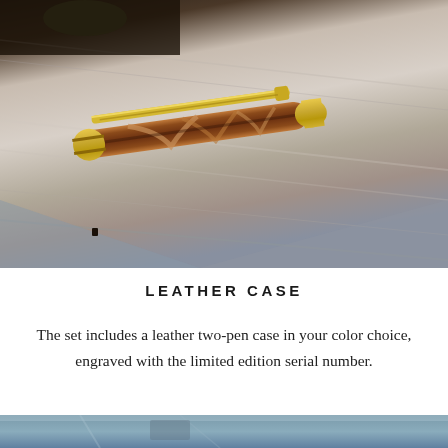[Figure (photo): A wooden pen with gold hardware resting on a weathered gray wood surface. The pen has a dark brown and lighter walnut swirl pattern with gold clip and gold cap end.]
LEATHER CASE
The set includes a leather two-pen case in your color choice, engraved with the limited edition serial number.
[Figure (photo): Partial view of another product photo at the bottom of the page.]